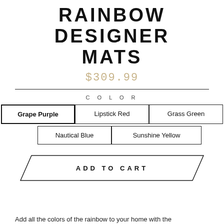RAINBOW DESIGNER MATS
$309.99
COLOR
Grape Purple
Lipstick Red
Grass Green
Nautical Blue
Sunshine Yellow
ADD TO CART
Add all the colors of the rainbow to your home with the